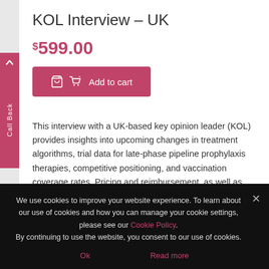KOL Interview – UK
$599.00
[Figure (other): Add to cart button with shopping cart icon]
This interview with a UK-based key opinion leader (KOL) provides insights into upcoming changes in treatment algorithms, trial data for late-phase pipeline prophylaxis therapies, competitive positioning, and vaccination coverage rates. Pricing and reimbursement, as well as unmet needs, are also discussed. Key pipeline assets highlighted include nirsevimab, RSVpreF, and GSK3844766A.
We use cookies to improve your website experience. To learn about our use of cookies and how you can manage your cookie settings, please see our Cookie Policy.
By continuing to use the website, you consent to our use of cookies.
Ok
Read more